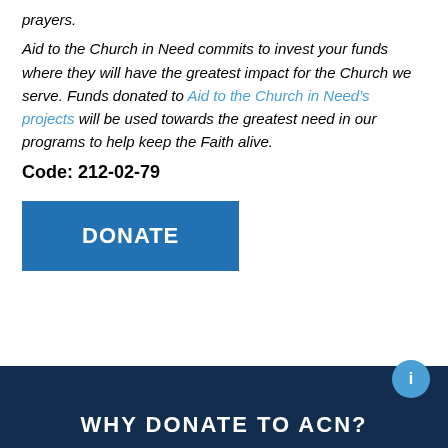prayers.
Aid to the Church in Need commits to invest your funds where they will have the greatest impact for the Church we serve. Funds donated to Aid to the Church in Need's projects will be used towards the greatest need in our programs to help keep the Faith alive.
Code: 212-02-79
[Figure (other): Blue donate button with white bold text reading DONATE]
WHY DONATE TO ACN?